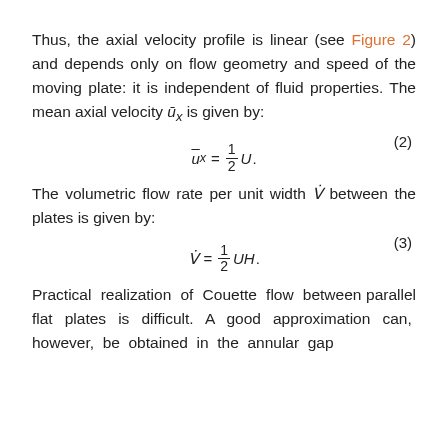Thus, the axial velocity profile is linear (see Figure 2) and depends only on flow geometry and speed of the moving plate: it is independent of fluid properties. The mean axial velocity ū_x is given by:
The volumetric flow rate per unit width V̇ between the plates is given by:
Practical realization of Couette flow between parallel flat plates is difficult. A good approximation can, however, be obtained in the annular gap